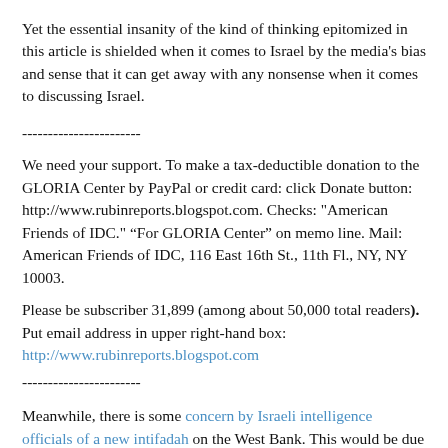Yet the essential insanity of the kind of thinking epitomized in this article is shielded when it comes to Israel by the media's bias and sense that it can get away with any nonsense when it comes to discussing Israel.
-----------------------
We need your support. To make a tax-deductible donation to the GLORIA Center by PayPal or credit card: click Donate button: http://www.rubinreports.blogspot.com. Checks: "American Friends of IDC." “For GLORIA Center” on memo line. Mail: American Friends of IDC, 116 East 16th St., 11th Fl., NY, NY 10003.
Please be subscriber 31,899 (among about 50,000 total readers). Put email address in upper right-hand box: http://www.rubinreports.blogspot.com
-----------------------
Meanwhile, there is some concern by Israeli intelligence officials of a new intifadah on the West Bank. This would be due to new